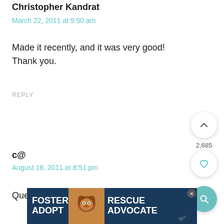Christopher Kandrat
March 22, 2011 at 9:50 am
Made it recently, and it was very good! Thank you.
REPLY
c@
August 18, 2011 at 8:51 pm
Question: Aside from cost and sodium, is
[Figure (photo): Advertisement banner for Foster Rescue Advocate featuring a dog photo on dark blue background]